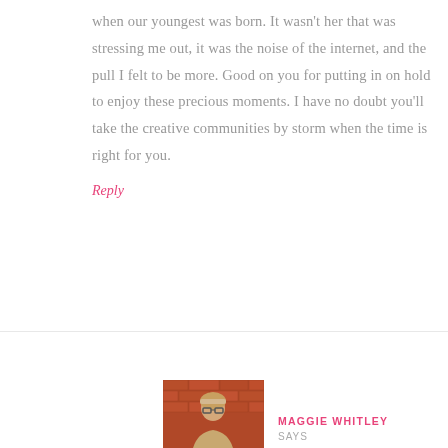when our youngest was born. It wasn't her that was stressing me out, it was the noise of the internet, and the pull I felt to be more. Good on you for putting in on hold to enjoy these precious moments. I have no doubt you'll take the creative communities by storm when the time is right for you.
Reply
[Figure (photo): Photo of Maggie Whitley, a woman with blonde hair and glasses, against a brick wall background]
MAGGIE WHITLEY SAYS